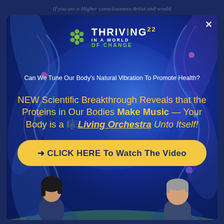If you are a Higher consciousness Artist and would
[Figure (screenshot): Modal popup overlay for 'Thriving In A World Of Change 2022' event. Features a blue DNA strand background. Contains a logo with green molecule icon, white and green text reading 'THRIVING IN A WORLD OF CHANGE 22'. A white tagline reads 'Can We Tune Our Body’s Natural Vibration To Promote Health?'. Large yellow headline reads 'NEW Scientific Breakthrough Reveals that the Proteins in Our Bodies Make Music — Your Body is a 🎼 Living Orchestra Unto Itself!'. A yellow button reads '→ CLICK HERE To Watch The Video'. Two people visible at the bottom.]
THRIVING IN A WORLD OF CHANGE 22
Can We Tune Our Body’s Natural Vibration To Promote Health?
NEW Scientific Breakthrough Reveals that the Proteins in Our Bodies Make Music — Your Body is a 🎼 Living Orchestra Unto Itself!
→ CLICK HERE To Watch The Video